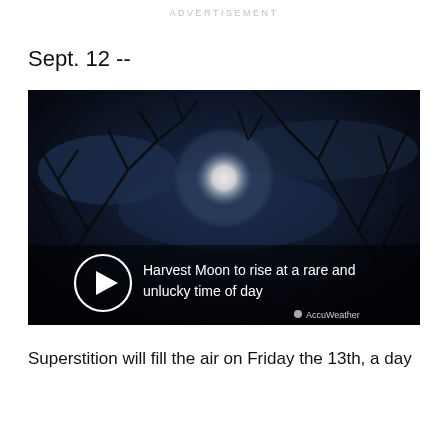ADVERTISEMENT
Sept. 12 --
[Figure (photo): A dark nighttime photo of a full moon (Harvest Moon) visible through bare tree branches against a deep blue-black sky, with a video play button overlay and caption text: 'Harvest Moon to rise at a rare and unlucky time of day'. AccuWeather branding is shown in the bottom right.]
Superstition will fill the air on Friday the 13th, a day